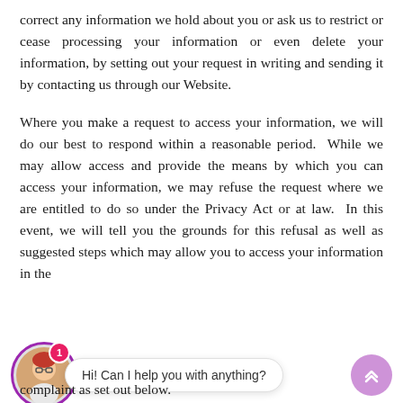correct any information we hold about you or ask us to restrict or cease processing your information or even delete your information, by setting out your request in writing and sending it by contacting us through our Website.
Where you make a request to access your information, we will do our best to respond within a reasonable period.  While we may allow access and provide the means by which you can access your information, we may refuse the request where we are entitled to do so under the Privacy Act or at law.  In this event, we will tell you the grounds for this refusal as well as suggested steps which may allow you to access your information in the complaint as set out below.
[Figure (other): Live chat widget overlay showing a female avatar with glasses, a pink notification badge showing '1', a chat bubble saying 'Hi! Can I help you with anything?', and a purple scroll-to-top button with double chevron up arrow.]